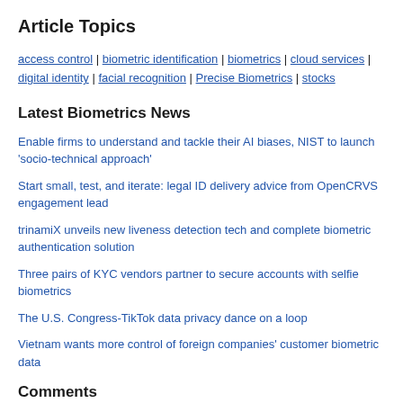Article Topics
access control | biometric identification | biometrics | cloud services | digital identity | facial recognition | Precise Biometrics | stocks
Latest Biometrics News
Enable firms to understand and tackle their AI biases, NIST to launch 'socio-technical approach'
Start small, test, and iterate: legal ID delivery advice from OpenCRVS engagement lead
trinamiX unveils new liveness detection tech and complete biometric authentication solution
Three pairs of KYC vendors partner to secure accounts with selfie biometrics
The U.S. Congress-TikTok data privacy dance on a loop
Vietnam wants more control of foreign companies' customer biometric data
Comments